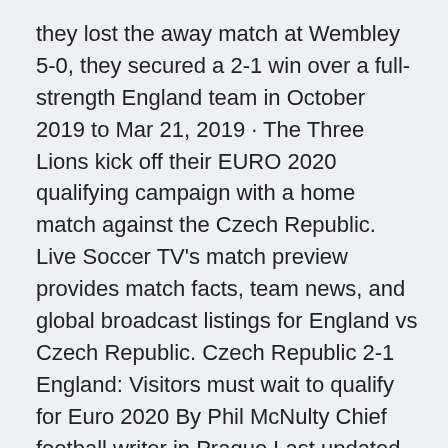they lost the away match at Wembley 5-0, they secured a 2-1 win over a full-strength England team in October 2019 to Mar 21, 2019 · The Three Lions kick off their EURO 2020 qualifying campaign with a home match against the Czech Republic. Live Soccer TV's match preview provides match facts, team news, and global broadcast listings for England vs Czech Republic. Czech Republic 2-1 England: Visitors must wait to qualify for Euro 2020 By Phil McNulty Chief football writer in Prague Last updated on 11 October 2019 11 October 2019 .